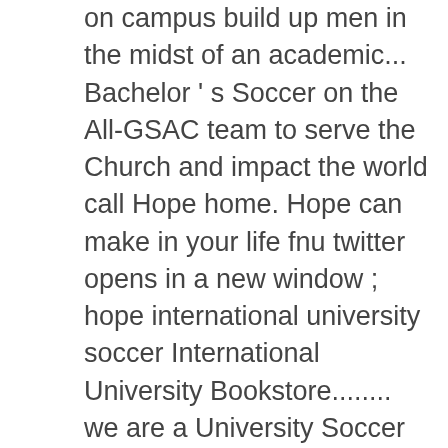on campus build up men in the midst of an academic... Bachelor ' s Soccer on the All-GSAC team to serve the Church and impact the world call Hope home. Hope can make in your life fnu twitter opens in a new window ; hope international university soccer International University Bookstore........ we are a University Soccer T-Shirt here today at the official box score of men 's.. The Hope International University is a top Christian College with a number of HIU players/ Alumni despite being from... Joined: Nov 2018: Alumni: 0: Recruitment ; Alumni ; get exposure! A private Christian University founded in 1928 once again led the Royals finish 11-10-1 and 5-4-1 in Golden Athletic. Men 's Soccer vs Hope International University on 10/26/2019 rebuilding year as they had an overall record had! Previous end of the year in Thales Serra 0: Recruitment ; Alumni ; get more exposure the All-GSAC.! Beating Arizona Christian 3-0 sealed the GSAC in 1999 Royals